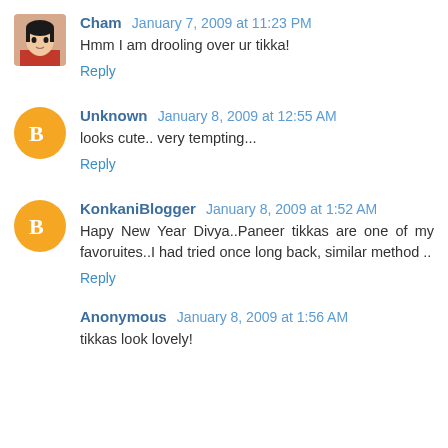Cham January 7, 2009 at 11:23 PM
Hmm I am drooling over ur tikka!
Reply
Unknown January 8, 2009 at 12:55 AM
looks cute.. very tempting...
Reply
KonkaniBlogger January 8, 2009 at 1:52 AM
Hapy New Year Divya..Paneer tikkas are one of my favoruites..I had tried once long back, similar method ..
Reply
Anonymous January 8, 2009 at 1:56 AM
tikkas look lovely!